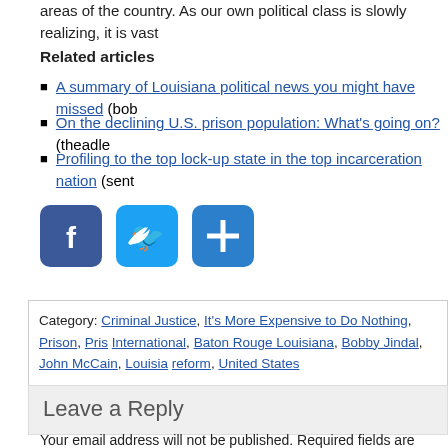areas of the country. As our own political class is slowly realizing, it is vast
Related articles
A summary of Louisiana political news you might have missed (bob
On the declining U.S. prison population: What's going on? (theadler
Profiling to the top lock-up state in the top incarceration nation (sent
[Figure (other): Social sharing buttons: Facebook (blue), Twitter (light blue), Plus/share (blue)]
Category: Criminal Justice, It's More Expensive to Do Nothing, Prison, Pris International, Baton Rouge Louisiana, Bobby Jindal, John McCain, Louisia reform, United States
Leave a Reply
Your email address will not be published. Required fields are marked *
Comment